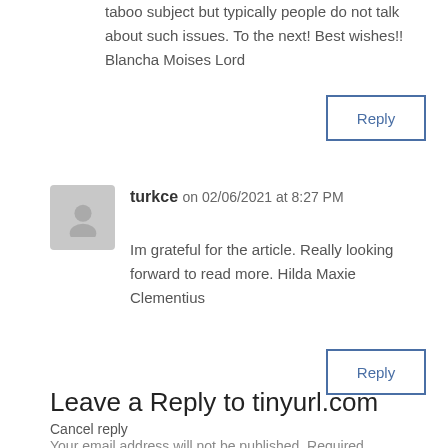taboo subject but typically people do not talk about such issues. To the next! Best wishes!! Blancha Moises Lord
Reply
turkce on 02/06/2021 at 8:27 PM
Im grateful for the article. Really looking forward to read more. Hilda Maxie Clementius
Reply
Leave a Reply to tinyurl.com
Cancel reply
Your email address will not be published. Required